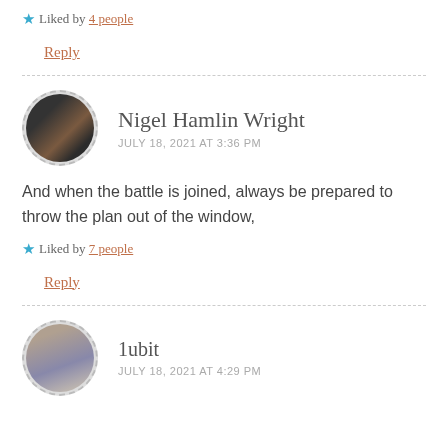★ Liked by 4 people
Reply
Nigel Hamlin Wright
JULY 18, 2021 AT 3:36 PM
And when the battle is joined, always be prepared to throw the plan out of the window,
★ Liked by 7 people
Reply
1ubit
JULY 18, 2021 AT 4:29 PM